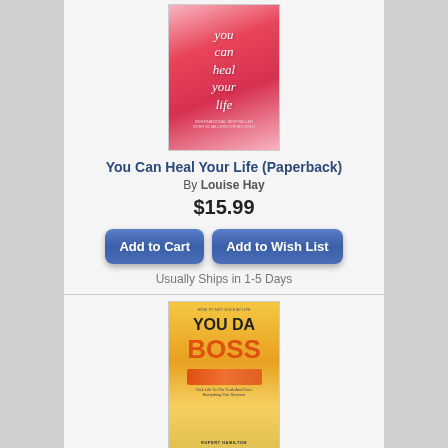[Figure (illustration): Book cover of 'You Can Heal Your Life' by Louise Hay — pink/red watercolor heart design with white italic text]
You Can Heal Your Life (Paperback)
By Louise Hay
$15.99
Add to Cart
Add to Wish List
Usually Ships in 1-5 Days
[Figure (illustration): Book cover of 'You Da Boss' — golden yellow textured background with orange brush stroke, subtitle 'How To Not Suck At Life', by Rupert Hamilton]
How To Not Suck At Life: You Da Boss!! Kick Life To The Curb And Own